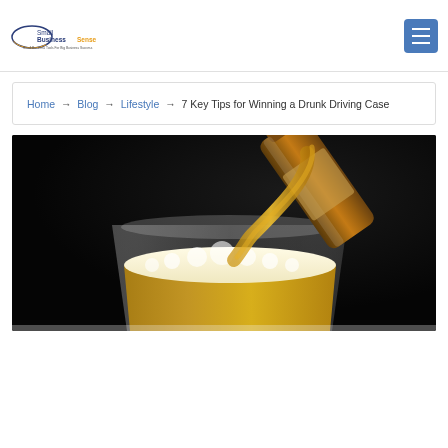SmallBusinessSense — Small Business Tools For Big Business Success
Home → Blog → Lifestyle → 7 Key Tips for Winning a Drunk Driving Case
[Figure (photo): Close-up photo of beer being poured from a brown bottle into a glass mug with foam, dark background]